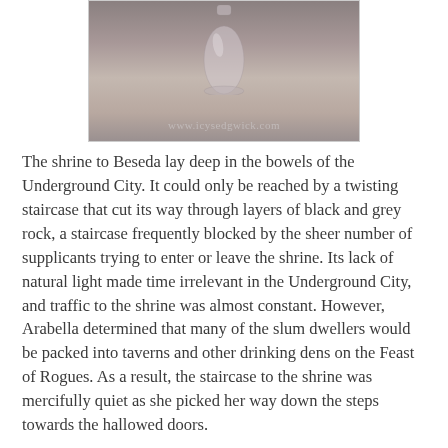[Figure (photo): A photograph of a small glass bottle or vial on a grey surface, with a watermark reading www.icysedgwick.com at the bottom of the image.]
The shrine to Beseda lay deep in the bowels of the Underground City. It could only be reached by a twisting staircase that cut its way through layers of black and grey rock, a staircase frequently blocked by the sheer number of supplicants trying to enter or leave the shrine. Its lack of natural light made time irrelevant in the Underground City, and traffic to the shrine was almost constant. However, Arabella determined that many of the slum dwellers would be packed into taverns and other drinking dens on the Feast of Rogues. As a result, the staircase to the shrine was mercifully quiet as she picked her way down the steps towards the hallowed doors.
She slipped between the iron gates and padded along the hallway towards the inner sanctum. There were no guards, for everyone guarded the shrine in their own way, and the